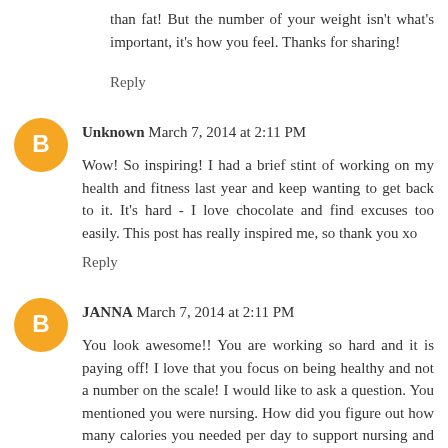than fat! But the number of your weight isn't what's important, it's how you feel. Thanks for sharing!
Reply
Unknown March 7, 2014 at 2:11 PM
Wow! So inspiring! I had a brief stint of working on my health and fitness last year and keep wanting to get back to it. It's hard - I love chocolate and find excuses too easily. This post has really inspired me, so thank you xo
Reply
JANNA March 7, 2014 at 2:11 PM
You look awesome!! You are working so hard and it is paying off! I love that you focus on being healthy and not a number on the scale! I would like to ask a question. You mentioned you were nursing. How did you figure out how many calories you needed per day to support nursing and working out?! Good luck in the competition!! You will do great!